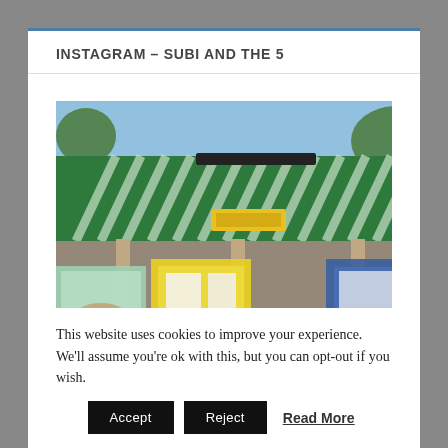INSTAGRAM – SUBI AND THE 5
[Figure (photo): Exterior photo of a building with a green and white striped roof, colorful posters and pamphlets displayed in the foreground, trees visible in the background under a blue sky.]
This website uses cookies to improve your experience. We'll assume you're ok with this, but you can opt-out if you wish.
Accept  Reject  Read More